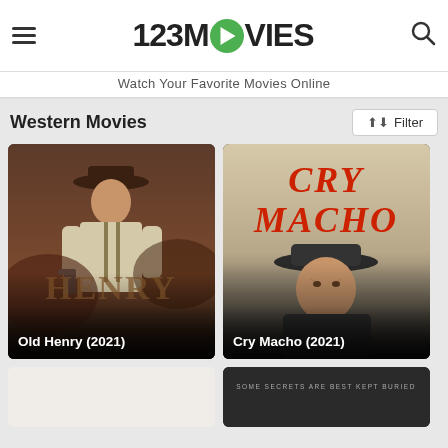123MOVIES — Watch Your Favorite Movies Online
Western Movies
[Figure (screenshot): Movie poster for Old Henry (2021) — a western gunfighter in a hat holding a pistol]
Old Henry (2021)
[Figure (screenshot): Movie poster for Cry Macho (2021) — red title text with man in cowboy hat]
Cry Macho (2021)
[Figure (screenshot): Partially visible movie poster (bottom row, left) — white/light background]
[Figure (screenshot): Partially visible movie poster (bottom row, right) — dark background with text 'SOME SECRETS ARE BEST KEPT BURIED']